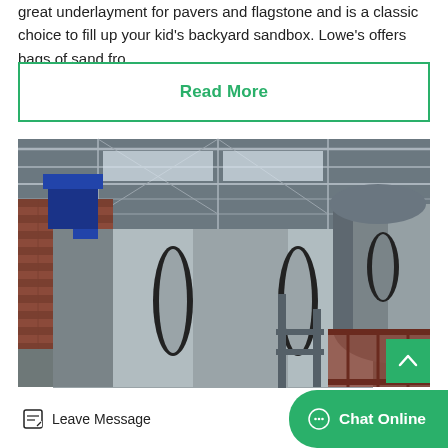great underlayment for pavers and flagstone and is a classic choice to fill up your kid's backyard sandbox. Lowe's offers bags of sand fro…
Read More
[Figure (photo): Industrial rotary drum equipment inside a large warehouse/factory building with metal roof structure. Large cylindrical steel drums/kilns with black ring collars are shown in the foreground, with red brick walls and metal scaffolding in the background.]
Leave Message
Chat Online